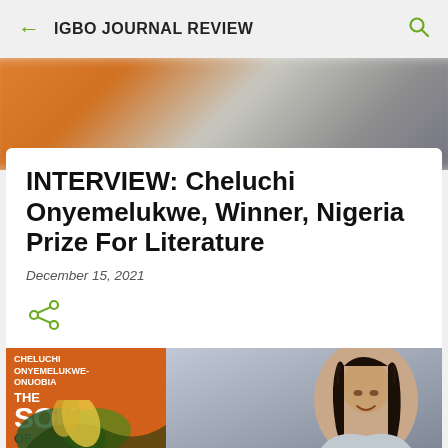IGBO JOURNAL REVIEW
[Figure (photo): Blurred hero background photo with orange and grey tones]
INTERVIEW: Cheluchi Onyemelukwe, Winner, Nigeria Prize For Literature
December 15, 2021
[Figure (illustration): Share icon (green network/share symbol)]
[Figure (photo): Book cover of 'The Son of the...' by Cheluchi Onyemelukwe-Onuobia with orange background and decorative artwork, alongside a photo of the author (a woman with braids smiling)]